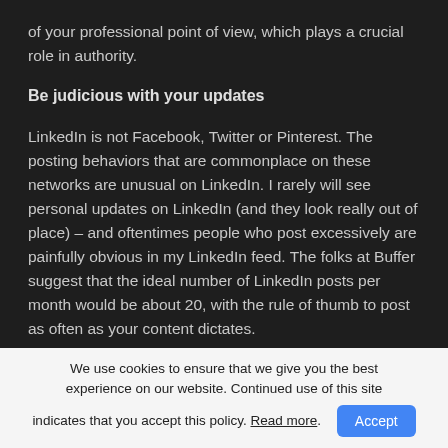of your professional point of view, which plays a crucial role in authority.
Be judicious with your updates
LinkedIn is not Facebook, Twitter or Pinterest. The posting behaviors that are commonplace on these networks are unusual on LinkedIn. I rarely will see personal updates on LinkedIn (and they look really out of place) – and oftentimes people who post excessively are painfully obvious in my LinkedIn feed. The folks at Buffer suggest that the ideal number of LinkedIn posts per month would be about 20, with the rule of thumb to post as often as your content dictates.
We use cookies to ensure that we give you the best experience on our website. Continued use of this site indicates that you accept this policy. Read more.